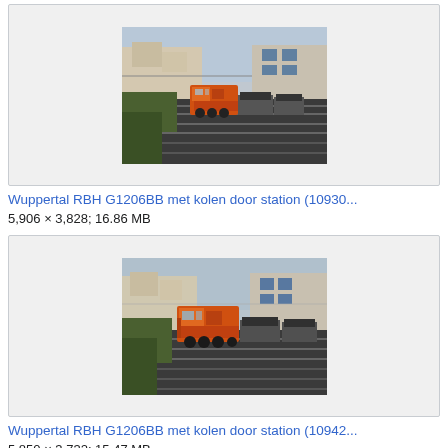[Figure (photo): Photograph of an orange diesel locomotive (RBH G1206BB) with coal train passing through a railway station, aerial/elevated view showing multiple tracks, overhead wires, and station buildings in background.]
Wuppertal RBH G1206BB met kolen door station (10930...
5,906 × 3,828; 16.86 MB
[Figure (photo): Photograph of an orange diesel locomotive (RBH G1206BB) with coal train passing through a railway station, similar elevated view with the locomotive more prominently visible in foreground.]
Wuppertal RBH G1206BB met kolen door station (10942...
5,850 × 3,732; 15.47 MB